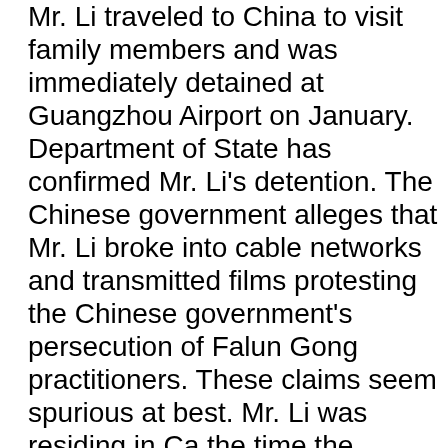Mr. Li traveled to China to visit family members and was immediately detained at Guangzhou Airport on January. Department of State has confirmed Mr. Li's detention. The Chinese government alleges that Mr. Li broke into cable networks and transmitted films protesting the Chinese government's persecution of Falun Gong practitioners. These claims seem spurious at best. Mr. Li was residing in Canada at the time the Chinese government purports interference with a cable television network. If convicted Mr. Li could face many years in prison. I urge you to join me in conveying our concerns about Mr. Li and requesting his release. To sign on to the attached letter or for more information, contact Arisbe Aguirre in my office by February 13, 2003 at 5-8104. Sincerely, /s/ Anna G. Eshoo February XX, 2003 The Honorable Yang Jiechi, Ambassador